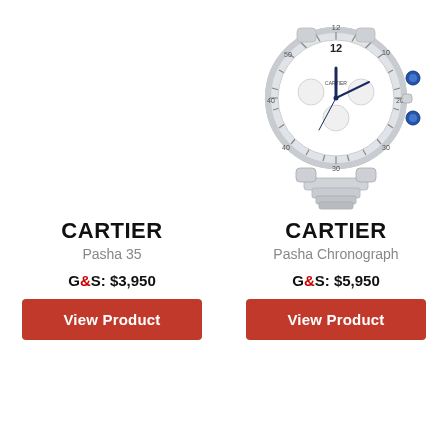[Figure (photo): Cartier Pasha Chronograph stainless steel watch with white dial, chronograph subdials, and bracelet, partially cropped at top]
CARTIER
Pasha 35
G&S: $3,950
View Product
CARTIER
Pasha Chronograph
G&S: $5,950
View Product